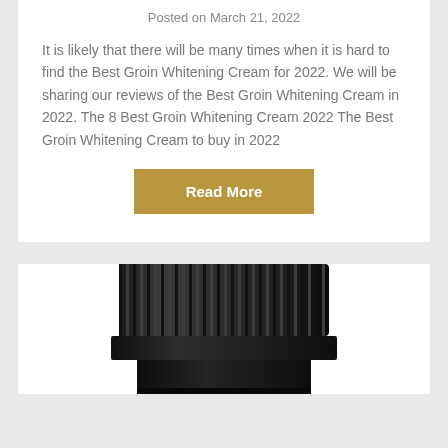Posted on March 21, 2022
It is likely that there will be many times when it is hard to find the Best Groin Whitening Cream for 2022. We will be sharing our reviews of the Best Groin Whitening Cream in 2022. The 8 Best Groin Whitening Cream 2022 The Best Groin Whitening Cream to buy in 2022
Read More
[Figure (photo): Close-up of a black bottle cap/lid with ridged texture, viewed from above, partially cropped at the bottom of the page]